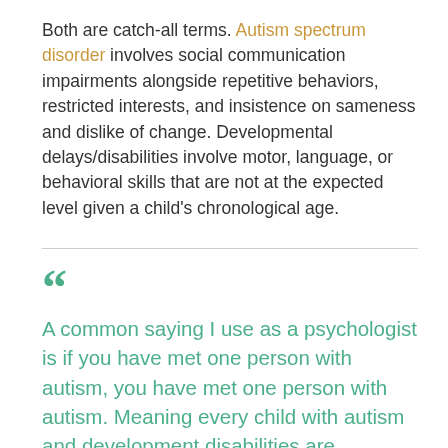Both are catch-all terms. Autism spectrum disorder involves social communication impairments alongside repetitive behaviors, restricted interests, and insistence on sameness and dislike of change. Developmental delays/disabilities involve motor, language, or behavioral skills that are not at the expected level given a child's chronological age.
A common saying I use as a psychologist is if you have met one person with autism, you have met one person with autism. Meaning every child with autism and development disabilities are